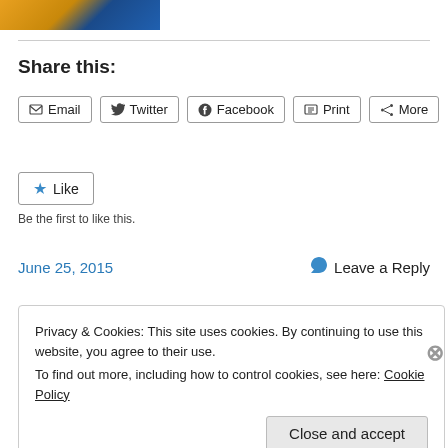[Figure (photo): Partial photo showing yellow and blue colors, cropped at top of page]
Share this:
Email  Twitter  Facebook  Print  More
Like
Be the first to like this.
June 25, 2015    Leave a Reply
Privacy & Cookies: This site uses cookies. By continuing to use this website, you agree to their use.
To find out more, including how to control cookies, see here: Cookie Policy
Close and accept